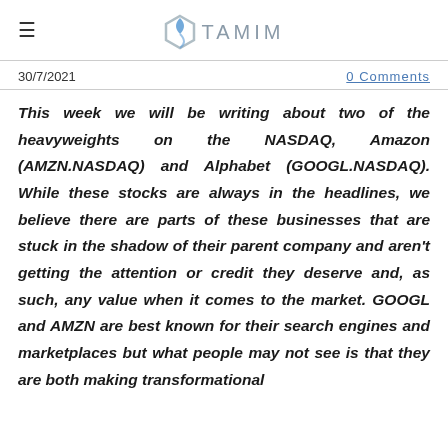TAMIM
30/7/2021
0 Comments
This week we will be writing about two of the heavyweights on the NASDAQ, Amazon (AMZN.NASDAQ) and Alphabet (GOOGL.NASDAQ). While these stocks are always in the headlines, we believe there are parts of these businesses that are stuck in the shadow of their parent company and aren't getting the attention or credit they deserve and, as such, any value when it comes to the market. GOOGL and AMZN are best known for their search engines and marketplaces but what people may not see is that they are both making transformational